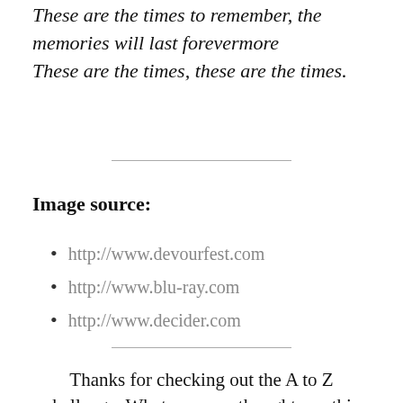These are the times to remember, the memories will last forevermore
These are the times, these are the times.
Image source:
http://www.devourfest.com
http://www.blu-ray.com
http://www.decider.com
Thanks for checking out the A to Z challenge. What are your thoughts on this